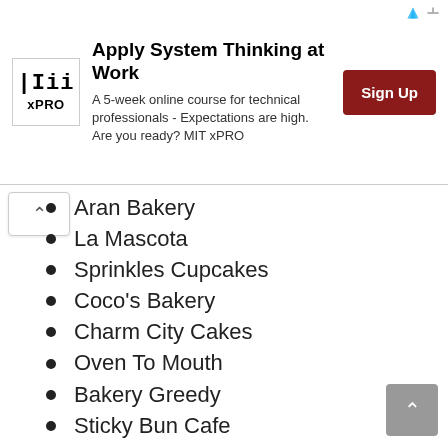[Figure (other): MIT xPRO advertisement banner with logo, headline 'Apply System Thinking at Work', description text, and 'Sign Up' button]
Aran Bakery
La Mascota
Sprinkles Cupcakes
Coco's Bakery
Charm City Cakes
Oven To Mouth
Bakery Greedy
Sticky Bun Cafe
Bakery Mead
Gingerbread Country
The Bread Fairy
Bake Rapture
Much Ado About Baguettes
Baguette De France